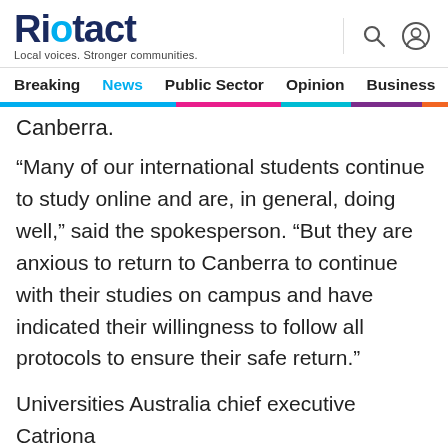Riotact — Local voices. Stronger communities.
Breaking  News  Public Sector  Opinion  Business  R
Canberra.
“Many of our international students continue to study online and are, in general, doing well,” said the spokesperson. “But they are anxious to return to Canberra to continue with their studies on campus and have indicated their willingness to follow all protocols to ensure their safe return.”
Universities Australia chief executive Catriona